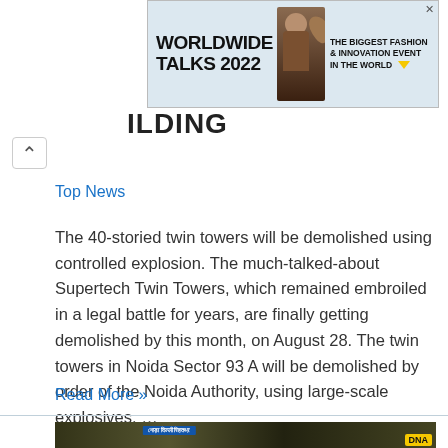[Figure (other): Advertisement banner: WORLDWIDE TALKS 2022 - THE BIGGEST FASHION & INNOVATION EVENT IN THE WORLD, with photo of a person and decorative triangle icon]
ILDING
Top News
The 40-storied twin towers will be demolished using controlled explosion. The much-talked-about Supertech Twin Towers, which remained embroiled in a legal battle for years, are finally getting demolished by this month, on August 28. The twin towers in Noida Sector 93 A will be demolished by order of the Noida Authority, using large-scale explosives. …
Read More »
[Figure (photo): Street scene photograph with signboards in Hindi/Bengali script, crowded market scene, DNA news logo badge visible in lower right corner]